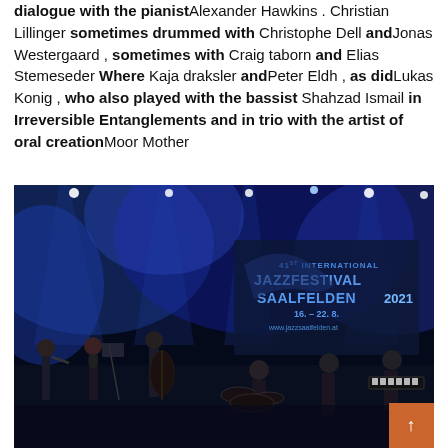dialogue with the pianist Alexander Hawkins . Christian Lillinger sometimes drummed with Christophe Dell and Jonas Westergaard , sometimes with Craig taborn and Elias Stemeseder Where Kaja draksler and Peter Eldh , as did Lukas Konig , who also played with the bassist Shahzad Ismail in Irreversible Entanglements and in trio with the artist of oral creation Moor Mother
[Figure (photo): Concert photo from Jazzfestival Saalfelden 2021 (41st International), dated 16.-22.8. Musicians performing on a dark stage with blue and purple stage lighting. Several performers visible including a bassist, saxophonist, and other musicians. Festival banner visible in background showing JAZZFESTIVAL SAALFELDEN 2021, www.jazzsaalfelden.at]